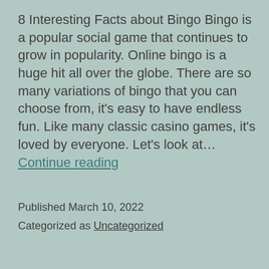8 Interesting Facts about Bingo Bingo is a popular social game that continues to grow in popularity. Online bingo is a huge hit all over the globe. There are so many variations of bingo that you can choose from, it's easy to have endless fun. Like many classic casino games, it's loved by everyone. Let's look at… Continue reading
Published March 10, 2022
Categorized as Uncategorized